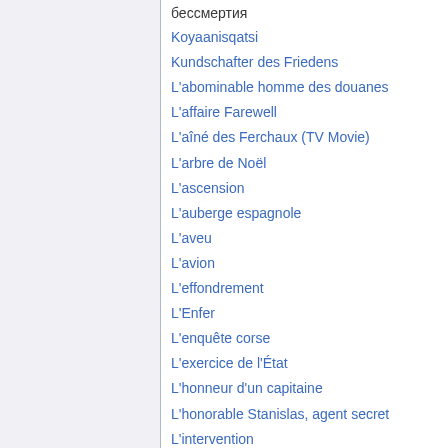бессмертия
Koyaanisqatsi
Kundschafter des Friedens
L'abominable homme des douanes
L'affaire Farewell
L'aîné des Ferchaux (TV Movie)
L'arbre de Noël
L'ascension
L'auberge espagnole
L'aveu
L'avion
L'effondrement
L'Enfer
L'enquête corse
L'exercice de l'État
L'honneur d'un capitaine
L'honorable Stanislas, agent secret
L'intervention
La 317e section
La Bamba
La di...